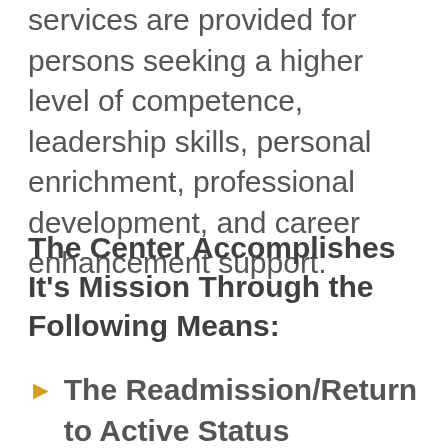services are provided for persons seeking a higher level of competence, leadership skills, personal enrichment, professional development, and career enhancement support.
The Center Accomplishes It's Mission Through the Following Means:
The Readmission/Return to Active Status Program is designed to offer